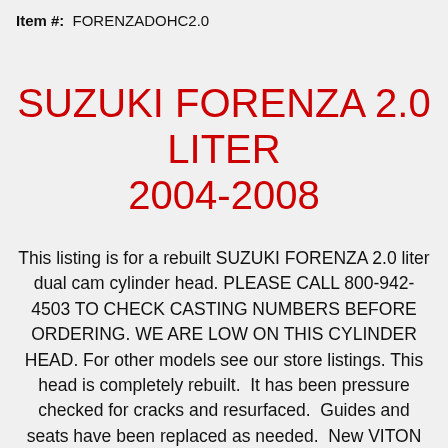Item #:  FORENZADOHC2.0
SUZUKI FORENZA 2.0 LITER 2004-2008
This listing is for a rebuilt SUZUKI FORENZA 2.0 liter dual cam cylinder head. PLEASE CALL 800-942-4503 TO CHECK CASTING NUMBERS BEFORE ORDERING. WE ARE LOW ON THIS CYLINDER HEAD. For other models see our store listings. This head is completely rebuilt.  It has been pressure checked for cracks and resurfaced.  Guides and seats have been replaced as needed.  New VITON valve stem seals  have been installed.  All heads are given a three angle valve job.  All valves have been